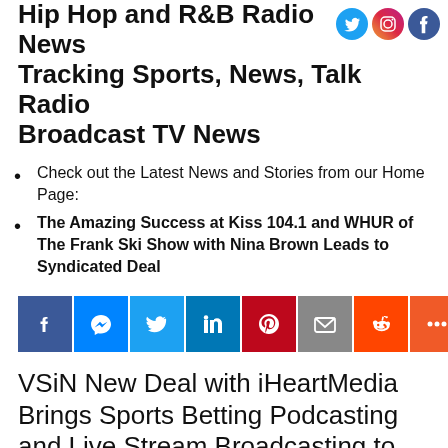Hip Hop and R&B Radio News Tracking Sports, News, Talk Radio Broadcast TV News
Check out the Latest News and Stories from our Home Page:
The Amazing Success at Kiss 104.1 and WHUR of The Frank Ski Show with Nina Brown Leads to Syndicated Deal
Angela Yee Leaving The Breakfast Club for Her Own Syndicated Radio Show "Way Up with Angela Yee"
[Figure (infographic): Social media share buttons: Facebook, Messenger, Twitter, LinkedIn, Pinterest, Email, Reddit, More]
VSiN New Deal with iHeartMedia Brings Sports Betting Podcasting and Live Stream Broadcasting to iHeartRadio